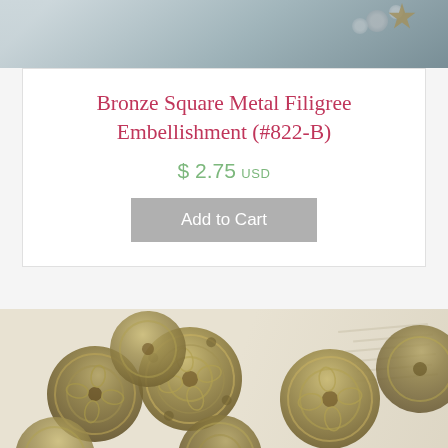[Figure (photo): Top portion of a product photo showing decorative jewelry/craft items on a light background]
Bronze Square Metal Filigree Embellishment (#822-B)
$ 2.75 USD
Add to Cart
[Figure (photo): Bronze square metal filigree embellishments displayed on a light vintage paper background, showing multiple ornate metal pieces with intricate openwork patterns]